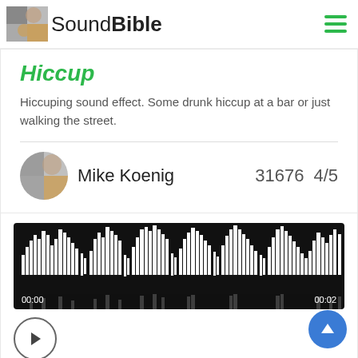SoundBible
Hiccup
Hiccuping sound effect. Some drunk hiccup at a bar or just walking the street.
Mike Koenig   31676   4/5
[Figure (other): Audio waveform player showing sound visualization with timestamps 00:00 and 00:02, play button below]
[Figure (other): Blue circular FAB button with upward arrow]